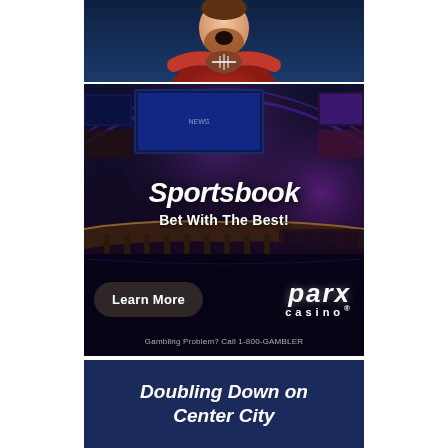[Figure (photo): Excited sports fan in red jersey holding a football, sitting against a dark blue background, mouth open in excitement]
[Figure (advertisement): Parx Casino Sportsbook advertisement. Interior of a large sportsbook casino with multiple TV screens, bar seating, and purple/blue lighting. Text reads 'Sportsbook', 'Bet With The Best!', 'Learn More' button, 'parx casino' logo, and disclaimer 'Gambling Problem? Call 1-800-GAMBLER']
Doubling Down on Center City